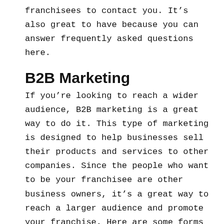franchisees to contact you. It’s also great to have because you can answer frequently asked questions here.
B2B Marketing
If you’re looking to reach a wider audience, B2B marketing is a great way to do it. This type of marketing is designed to help businesses sell their products and services to other companies. Since the people who want to be your franchisee are other business owners, it’s a great way to reach a larger audience and promote your franchise. Here are some forms of effective B2B marketing.
Social Media
In today’s day and age, social media is one of the most powerful tools at your disposal. It’s a great way to connect with potential franchisees and customers alike. You can use social media to build brand awareness and drive traffic to